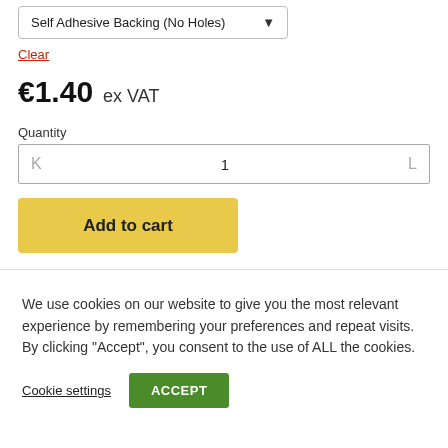[Figure (screenshot): Dropdown selector showing 'Self Adhesive Backing (No Holes)' with a down arrow]
Clear
€1.40  ex VAT
Quantity
[Figure (screenshot): Quantity input box showing value 1 with K on left and L on right as decrement/increment controls]
[Figure (screenshot): Add to cart button, yellow/gold background]
We use cookies on our website to give you the most relevant experience by remembering your preferences and repeat visits. By clicking “Accept”, you consent to the use of ALL the cookies.
Cookie settings
ACCEPT